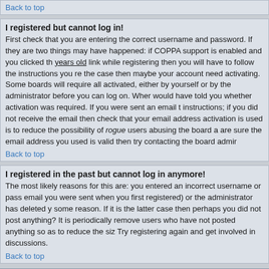Back to top
I registered but cannot log in!
First check that you are entering the correct username and password. If they are two things may have happened: if COPPA support is enabled and you clicked th years old link while registering then you will have to follow the instructions you re the case then maybe your account need activating. Some boards will require all activated, either by yourself or by the administrator before you can log on. Wher would have told you whether activation was required. If you were sent an email t instructions; if you did not receive the email then check that your email address activation is used is to reduce the possibility of rogue users abusing the board a are sure the email address you used is valid then try contacting the board admir
Back to top
I registered in the past but cannot log in anymore!
The most likely reasons for this are: you entered an incorrect username or pass email you were sent when you first registered) or the administrator has deleted y some reason. If it is the latter case then perhaps you did not post anything? It is periodically remove users who have not posted anything so as to reduce the siz Try registering again and get involved in discussions.
Back to top
User Preferences and settings
How do I change my settings?